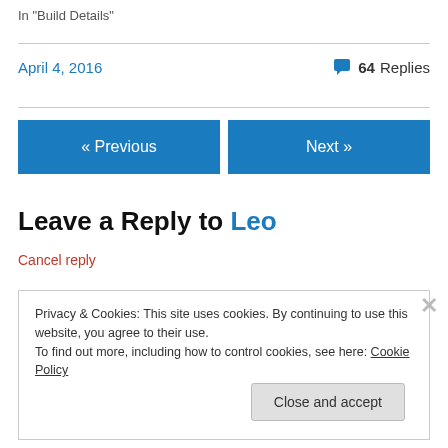In "Build Details"
April 4, 2016   💬 64 Replies
« Previous
Next »
Leave a Reply to Leo
Cancel reply
Privacy & Cookies: This site uses cookies. By continuing to use this website, you agree to their use.
To find out more, including how to control cookies, see here: Cookie Policy
Close and accept